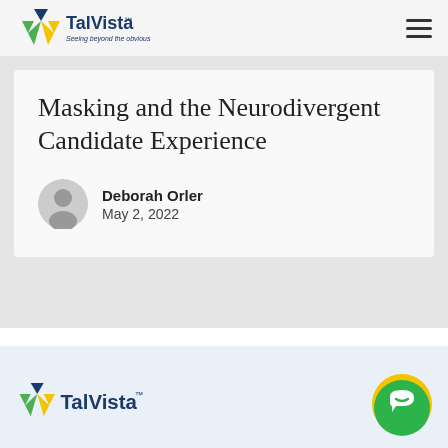TalVista™ — Seeing beyond the obvious
Masking and the Neurodivergent Candidate Experience
Deborah Orler
May 2, 2022
[Figure (logo): TalVista logo at bottom of page]
[Figure (illustration): Green circle chat/support button with chat icon]